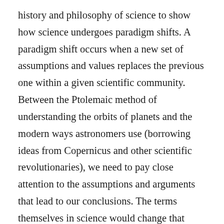history and philosophy of science to show how science undergoes paradigm shifts. A paradigm shift occurs when a new set of assumptions and values replaces the previous one within a given scientific community. Between the Ptolemaic method of understanding the orbits of planets and the modern ways astronomers use (borrowing ideas from Copernicus and other scientific revolutionaries), we need to pay close attention to the assumptions and arguments that lead to our conclusions. The terms themselves in science would change that complicate the method of comparing scientific theories and evidence between these different paradigms. Kuhn particularly held that scientific theories from before and after a scientific revolution cannot be compared in a straightforward way; they are “incommensurable,” because the meanings of familiar terms change in unexpected ways as scientists go from one mode of description to another. One drastic consequence of